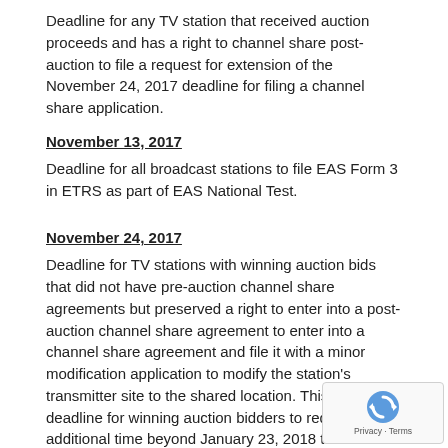Deadline for any TV station that received auction proceeds and has a right to channel share post-auction to file a request for extension of the November 24, 2017 deadline for filing a channel share application.
November 13, 2017
Deadline for all broadcast stations to file EAS Form 3 in ETRS as part of EAS National Test.
November 24, 2017
Deadline for TV stations with winning auction bids that did not have pre-auction channel share agreements but preserved a right to enter into a post-auction channel share agreement to enter into a channel share agreement and file it with a minor modification application to modify the station's transmitter site to the shared location. This is also the deadline for winning auction bidders to request additional time beyond January 23, 2018 to continue operations on their pre-auction channel.